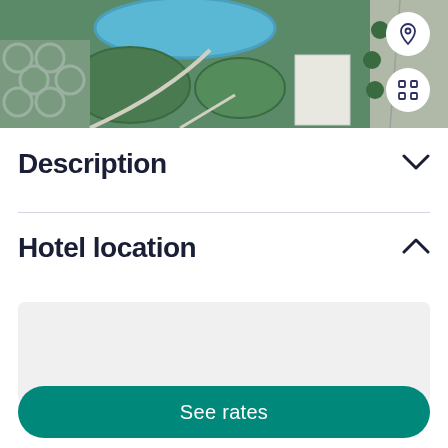[Figure (photo): Aerial view of a hotel property with a blue oval swimming pool, green landscaped areas with geometric patterns, buildings, and a road with trees]
Description
Hotel location
[Figure (map): Map placeholder showing hotel location, light grey background]
See rates